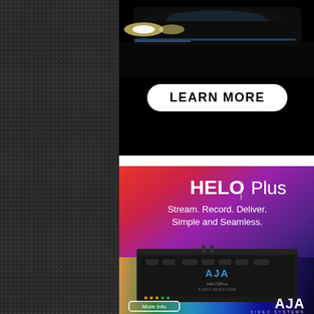[Figure (photo): Top advertisement with dark/black background showing a car at night with headlights visible. Contains a white rounded-rectangle 'LEARN MORE' button centered in the lower portion of the ad.]
[Figure (photo): AJA HELO Plus advertisement with colorful gradient background (red to purple to dark blue) and rainbow spectrum at bottom. Shows the HELO Plus hardware device (a flat black rack-style streaming/recording unit). Text reads 'HELO | Plus', 'Stream. Record. Deliver. Simple and Seamless.' with 'More Info' button at bottom-left and AJA VIDEO SYSTEMS logo at bottom-right.]